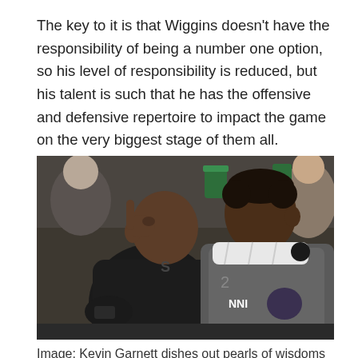The key to it is that Wiggins doesn't have the responsibility of being a number one option, so his level of responsibility is reduced, but his talent is such that he has the offensive and defensive repertoire to impact the game on the very biggest stage of them all.
[Figure (photo): Two NBA players sitting on the bench. The player on the left is a bald Black man in a black jacket pointing to his temple while leaning toward the player on the right. The player on the right is a younger Black man wearing a gray NBA jersey with a white towel around his neck. Crowd visible in the background.]
Image: Kevin Garnett dishes out pearls of wisdoms to a